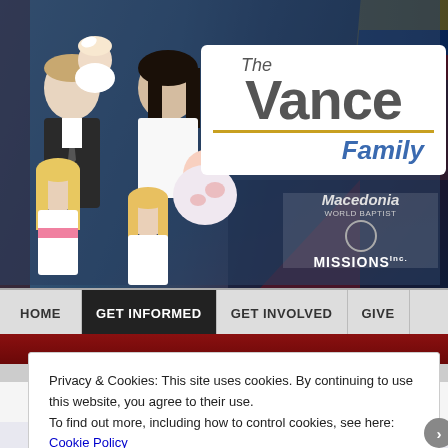[Figure (screenshot): Website banner showing The Vance Family missionary website header. Left side has a family photo of man in suit, woman, and three young girls in white dresses. Right side shows 'The Vance Family' logo in a white box and Macedonia World Baptist Missions logo. Colombian flag colors visible in top right. Navigation bar below with HOME, GET INFORMED (active/dark), GET INVOLVED, and GIVE menu items.]
Privacy & Cookies: This site uses cookies. By continuing to use this website, you agree to their use.
To find out more, including how to control cookies, see here: Cookie Policy
Close and accept
Follow